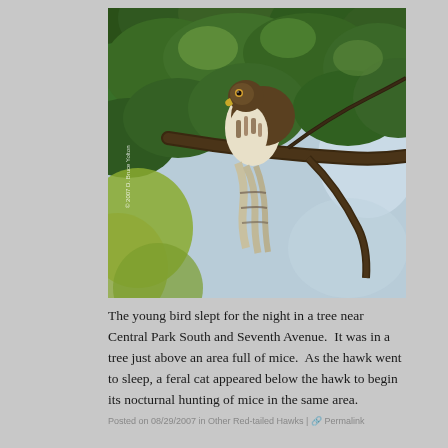[Figure (photo): A young red-tailed hawk perched on a tree branch among green leaves, photographed from below. The hawk is facing left, showing its white and brown speckled chest. Photo credit: © 2007 D. Bruce Yolton]
The young bird slept for the night in a tree near Central Park South and Seventh Avenue.  It was in a tree just above an area full of mice.  As the hawk went to sleep, a feral cat appeared below the hawk to begin its nocturnal hunting of mice in the same area.
Posted on 08/29/2007 in Other Red-tailed Hawks | 🔗 Permalink